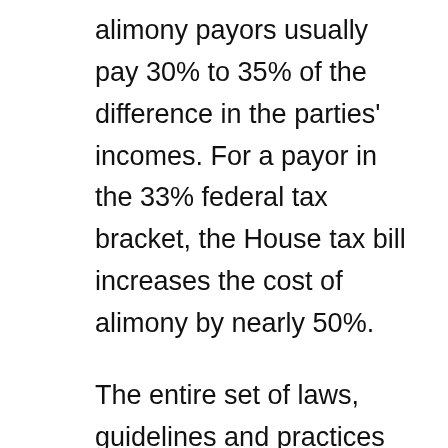alimony payors usually pay 30% to 35% of the difference in the parties' incomes. For a payor in the 33% federal tax bracket, the House tax bill increases the cost of alimony by nearly 50%.
The entire set of laws, guidelines and practices around alimony are based on its deductibility. Passage of the House Republican tax bill is